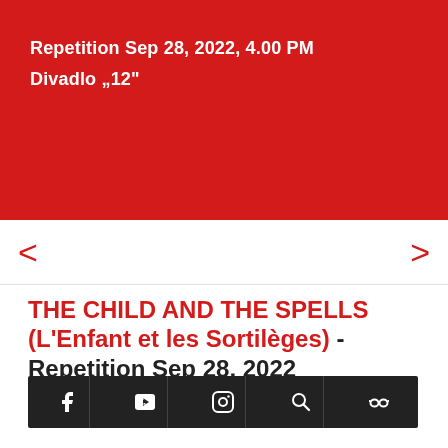Repetition Sep 28, 2022, 4.00 PM
Divadlo „12“
[Figure (screenshot): Red banner with white bold text showing event details]
< (navigation arrow left)
> (navigation arrow right)
THE CHILD AND THE SPELLS (L’Enfant et les Sortilèges) - Repetition Sep 28, 2022
Maurice Ravel
Repetition S... o „12“
[Figure (screenshot): Social media toolbar with Facebook, YouTube, Instagram, Search, and custom icons on dark background]